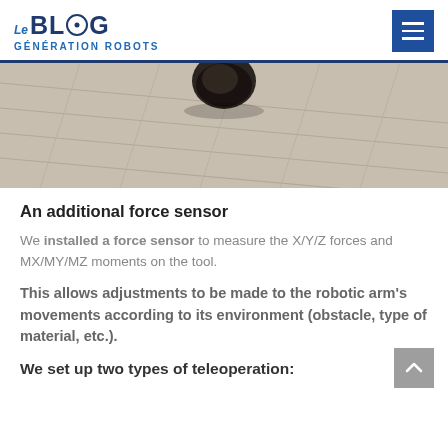LE BLOG Génération ROBOTS
[Figure (photo): Photo of a robotic arm or device on a wooden floor, viewed from above, showing the floor texture with diagonal wood-grain tiles.]
An additional force sensor
We installed a force sensor to measure the X/Y/Z forces and MX/MY/MZ moments on the tool.
This allows adjustments to be made to the robotic arm's movements according to its environment (obstacle, type of material, etc.).
We set up two types of teleoperation: